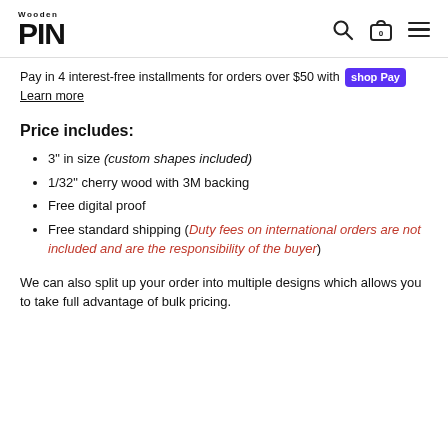Wooden Pin — navigation header with logo, search, bag, and menu icons
Pay in 4 interest-free installments for orders over $50 with shop Pay
Learn more
Price includes:
3" in size (custom shapes included)
1/32" cherry wood with 3M backing
Free digital proof
Free standard shipping (Duty fees on international orders are not included and are the responsibility of the buyer)
We can also split up your order into multiple designs which allows you to take full advantage of bulk pricing.